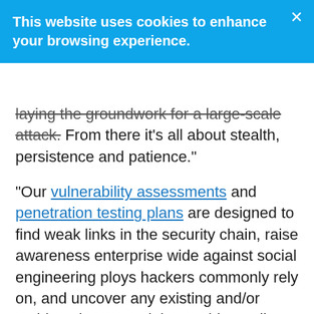This website uses cookies to enhance your browsing experience.
laying the groundwork for a large-scale attack. From there it’s all about stealth, persistence and patience.”
“Our vulnerability assessments and penetration testing plans are designed to find weak links in the security chain, raise awareness enterprise wide against social engineering ploys hackers commonly rely on, and uncover any existing and/or resident threats and thoroughly eradicate them, all with an eye on the appropriate regulatory compliance issues many clients face in their industries, like GLB (Gramm Leach Bliley) compliance for the financial industry for instance. From proactive solutions to help thwart today’s cyber threats, to a proven track record as emergency incident responders, we